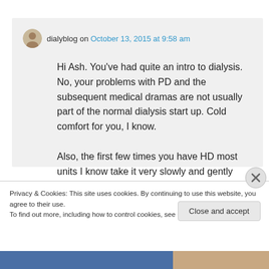dialyblog on October 13, 2015 at 9:58 am
Hi Ash. You've had quite an intro to dialysis. No, your problems with PD and the subsequent medical dramas are not usually part of the normal dialysis start up. Cold comfort for you, I know.

Also, the first few times you have HD most units I know take it very slowly and gently
Privacy & Cookies: This site uses cookies. By continuing to use this website, you agree to their use.
To find out more, including how to control cookies, see here: Cookie Policy
Close and accept